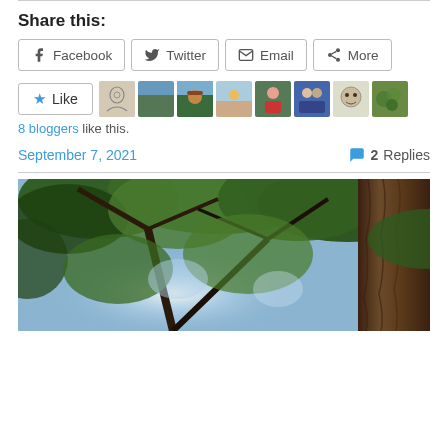Share this:
Facebook  Twitter  Email  More
[Figure (other): Like button with star icon, followed by 8 blogger avatars in a row]
8 bloggers like this.
September 7, 2021   💬 2 Replies
[Figure (photo): Looking up through tall conifer trees toward a sunlit sky, with a large tree trunk on the right side]